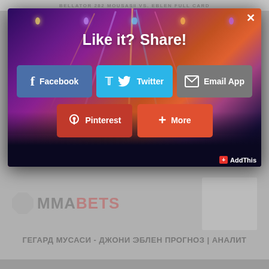BELLATOR 282 MOUSASI VS. EBLEN FULL CARD
[Figure (screenshot): Social share modal overlay on a concert photo background. Shows 'Like it? Share!' heading with buttons for Facebook, Twitter, Email App, Pinterest, More, and AddThis branding. Has an X close button top right.]
Like it? Share!
Facebook
Twitter
Email App
Pinterest
More
AddThis
ГЕГАРД МУСАСИ - ДЖОНИ ЭБЛЕН ПРОГНОЗ | АНАЛИТ